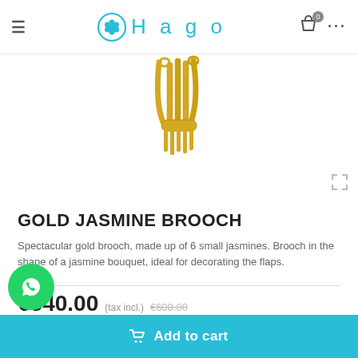Hago
[Figure (photo): Gold jasmine brooch product photo showing gold-colored metallic jasmine flower stems against white background]
GOLD JASMINE BROOCH
Spectacular gold brooch, made up of 6 small jasmines. Brooch in the shape of a jasmine bouquet, ideal for decorating the flaps.
€540.00 (tax incl.) €600.00
Add to cart